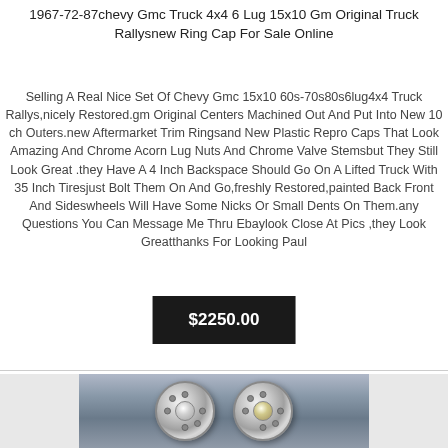1967-72-87chevy Gmc Truck 4x4 6 Lug 15x10 Gm Original Truck Rallysnew Ring Cap For Sale Online
Selling A Real Nice Set Of Chevy Gmc 15x10 60s-70s80s6lug4x4 Truck Rallys,nicely Restored.gm Original Centers Machined Out And Put Into New 10 ch Outers.new Aftermarket Trim Ringsand New Plastic Repro Caps That Look Amazing And Chrome Acorn Lug Nuts And Chrome Valve Stemsbut They Still Look Great .they Have A 4 Inch Backspace Should Go On A Lifted Truck With 35 Inch Tiresjust Bolt Them On And Go,freshly Restored,painted Back Front And Sideswheels Will Have Some Nicks Or Small Dents On Them.any Questions You Can Message Me Thru Ebaylook Close At Pics ,they Look Greatthanks For Looking Paul
$2250.00
[Figure (photo): Photo of two chrome truck rally wheels side by side on a dark blue/grey background, showing the center caps and lug nut area.]